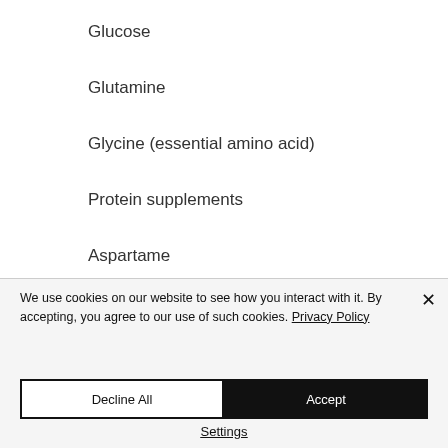Glucose
Glutamine
Glycine (essential amino acid)
Protein supplements
Aspartame
Glucosamine (also known as glucoron)
We use cookies on our website to see how you interact with it. By accepting, you agree to our use of such cookies. Privacy Policy
Decline All
Accept
Settings